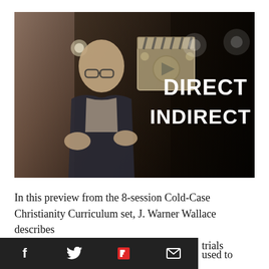[Figure (screenshot): Video thumbnail showing J. Warner Wallace speaking in a courtroom setting with a play button icon (clapperboard overlay), and the words DIRECT and INDIRECT displayed in white bold text on the right side of the image.]
In this preview from the 8-session Cold-Case Christianity Curriculum set, J. Warner Wallace describes
trials
used to
[Figure (other): Social media share bar with icons for Facebook (f), Twitter (bird), Flipboard (F), and Email (envelope) on a dark background.]